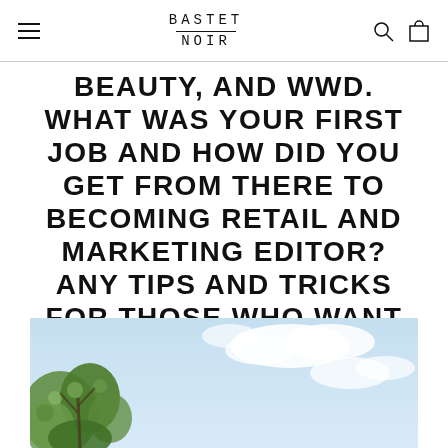BASTET NOIR
BEAUTY, AND WWD. WHAT WAS YOUR FIRST JOB AND HOW DID YOU GET FROM THERE TO BECOMING RETAIL AND MARKETING EDITOR? ANY TIPS AND TRICKS FOR THOSE WHO WANT TO FOLLOW IN YOUR FOOTSTEPS?
[Figure (photo): Outdoor scenic photo showing green leafy tree branches on the left against a bright blue sky with white clouds]